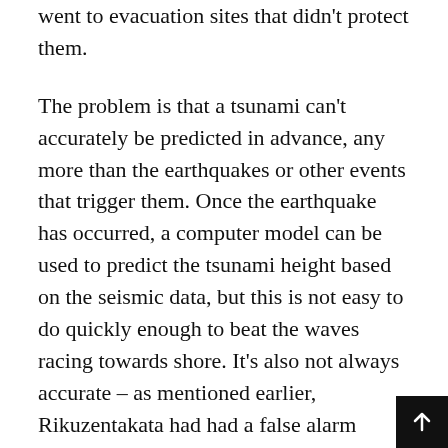went to evacuation sites that didn't protect them.
The problem is that a tsunami can't accurately be predicted in advance, any more than the earthquakes or other events that trigger them. Once the earthquake has occurred, a computer model can be used to predict the tsunami height based on the seismic data, but this is not easy to do quickly enough to beat the waves racing towards shore. It's also not always accurate – as mentioned earlier, Rikuzentakata had had a false alarm before, so people did not always take the alarm as seriously as they should.
There were also many survivors who said that they hadn't always been prepared when